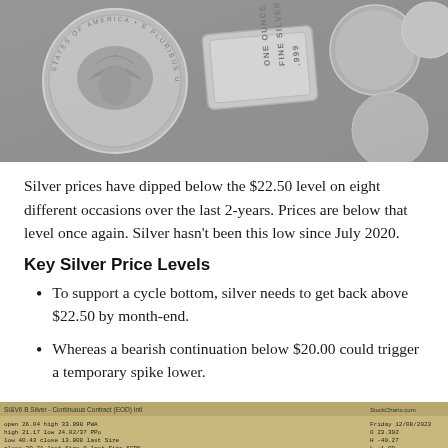[Figure (photo): Black and white photograph of silver coins and a silver bar reading ONE OUNCE FINE SILVER .999]
Silver prices have dipped below the $22.50 level on eight different occasions over the last 2-years. Prices are below that level once again. Silver hasn't been this low since July 2020.
Key Silver Price Levels
To support a cycle bottom, silver needs to get back above $22.50 by month-end.
Whereas a bearish continuation below $20.00 could trigger a temporary spike lower.
[Figure (screenshot): Partial screenshot of a silver futures continuous contract chart with price data table showing values including 26.04, 21.17, 40.43, 20.71 and chart indicators]